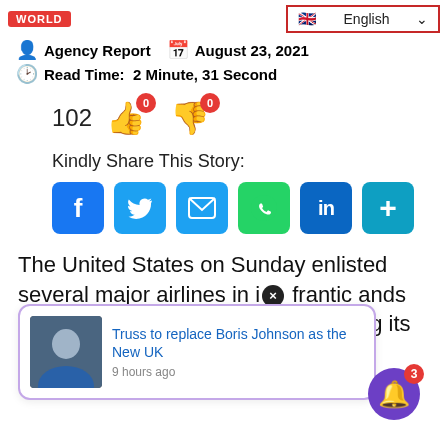WORLD | English
Agency Report  August 23, 2021
Read Time:  2 Minute, 31 Second
102  👍 0  👎 0
Kindly Share This Story:
[Figure (other): Social share buttons: Facebook, Twitter, Email, WhatsApp, LinkedIn, More]
The United States on Sunday enlisted several major airlines in its frantic [popup overlay] hands of her foreigners from Kabul following its fall
[Figure (other): Popup notification: Truss to replace Boris Johnson as the New UK [Prime Minister] - 9 hours ago, with photo of Liz Truss]